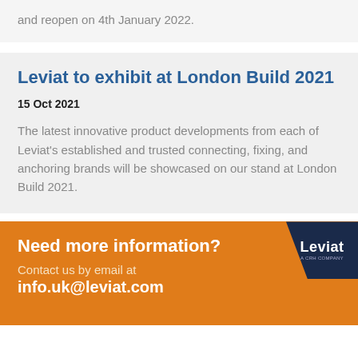and reopen on 4th January 2022.
Leviat to exhibit at London Build 2021
15 Oct 2021
The latest innovative product developments from each of Leviat's established and trusted connecting, fixing, and anchoring brands will be showcased on our stand at London Build 2021.
Need more information?
Contact us by email at
info.uk@leviat.com